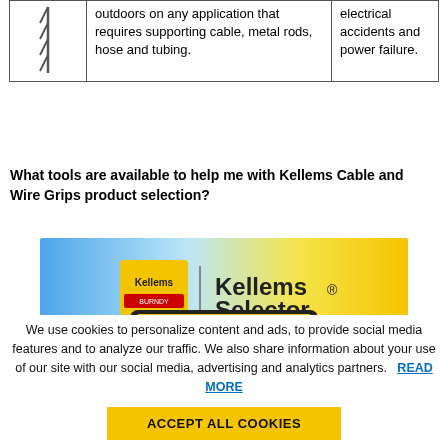| Image | Application | Benefit |
| --- | --- | --- |
| [icon] | outdoors on any application that requires supporting cable, metal rods, hose and tubing. | electrical accidents and power failure. |
What tools are available to help me with Kellems Cable and Wire Grips product selection?
[Figure (screenshot): Kellems Selector product selection tool screenshot showing a tablet device with yellow Kellems logo and 'Kellems® Selector' branding on a blue-to-yellow gradient background.]
We use cookies to personalize content and ads, to provide social media features and to analyze our traffic. We also share information about your use of our site with our social media, advertising and analytics partners. READ MORE